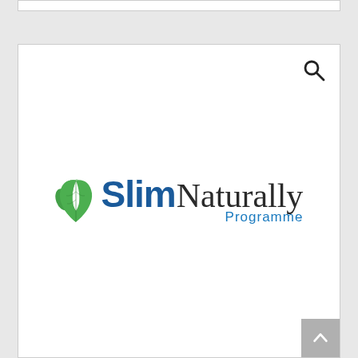[Figure (logo): SlimNaturally Programme logo with a green leaf icon on the left, 'Slim' in bold dark blue sans-serif, 'Naturally' in dark cursive script, and 'Programme' in lighter blue below]
[Figure (other): Magnifying glass search icon in top right corner of card]
[Figure (other): Scroll-to-top button in bottom right corner, grey square with white upward chevron]